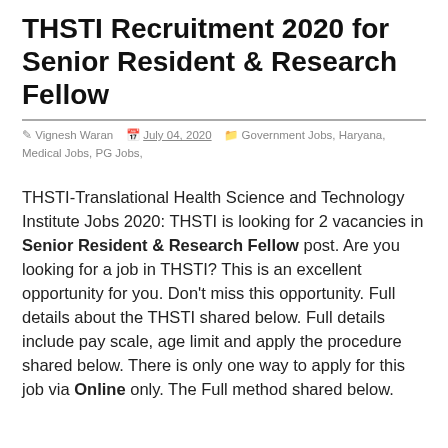THSTI Recruitment 2020 for Senior Resident & Research Fellow
Vignesh Waran  July 04, 2020  Government Jobs, Haryana, Medical Jobs, PG Jobs,
THSTI-Translational Health Science and Technology Institute Jobs 2020: THSTI is looking for 2 vacancies in Senior Resident & Research Fellow post. Are you looking for a job in THSTI? This is an excellent opportunity for you. Don't miss this opportunity. Full details about the THSTI shared below. Full details include pay scale, age limit and apply the procedure shared below. There is only one way to apply for this job via Online only. The Full method shared below.